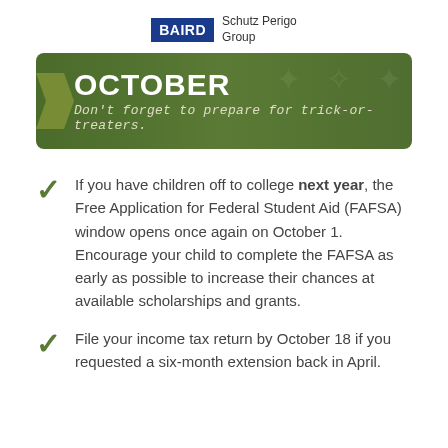[Figure (logo): Baird Schutz Perigo Group logo — blue rectangle with BAIRD text and company name to the right]
OCTOBER
Don't forget to prepare for trick-or-treaters.
If you have children off to college next year, the Free Application for Federal Student Aid (FAFSA) window opens once again on October 1. Encourage your child to complete the FAFSA as early as possible to increase their chances at available scholarships and grants.
File your income tax return by October 18 if you requested a six-month extension back in April.